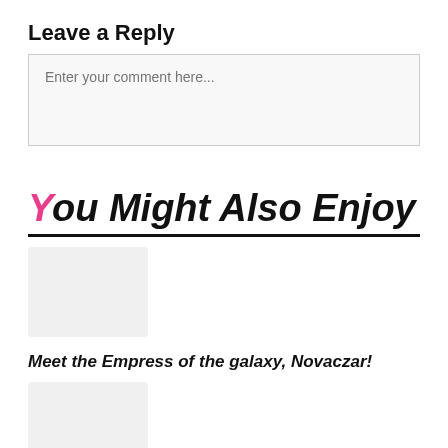Leave a Reply
Enter your comment here...
You Might Also Enjoy
Meet the Empress of the galaxy, Novaczar!
Get Ready for A Sweet Time At the Club : Just A Taste by DJ Duo Jawbreakers